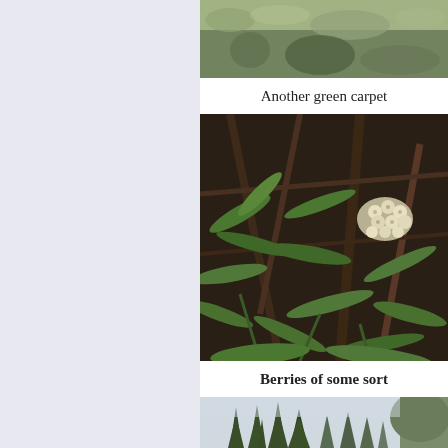[Figure (photo): Aerial/ground view of green carpet-like alpine vegetation covering a slope]
Another green carpet
[Figure (photo): Close-up of green leafy plants with white berry-like flowers/berries amid dark woody debris]
Berries of some sort
[Figure (photo): Tall evergreen conifer trees (firs/spruces) on a mountain slope]